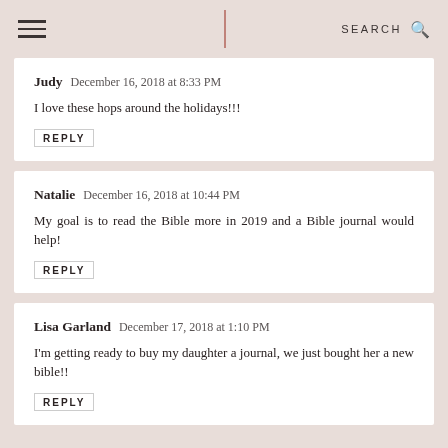SEARCH
Judy  December 16, 2018 at 8:33 PM
I love these hops around the holidays!!!
REPLY
Natalie  December 16, 2018 at 10:44 PM
My goal is to read the Bible more in 2019 and a Bible journal would help!
REPLY
Lisa Garland  December 17, 2018 at 1:10 PM
I'm getting ready to buy my daughter a journal, we just bought her a new bible!!
REPLY